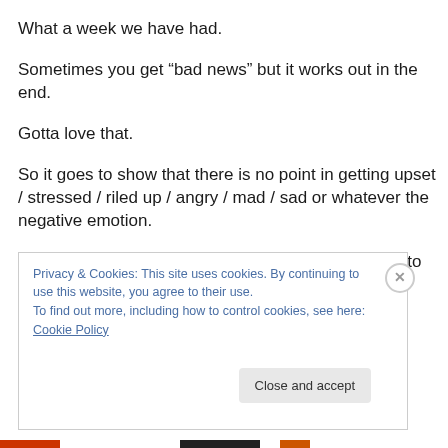What a week we have had.
Sometimes you get “bad news” but it works out in the end.
Gotta love that.
So it goes to show that there is no point in getting upset / stressed / riled up / angry / mad / sad or whatever the negative emotion.
Until the final word has been spoken or the final ink to paper.
Privacy & Cookies: This site uses cookies. By continuing to use this website, you agree to their use.
To find out more, including how to control cookies, see here: Cookie Policy
Close and accept